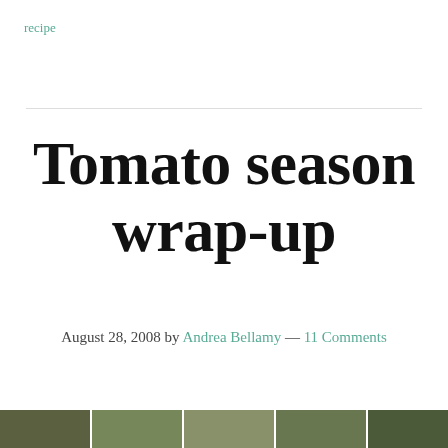recipe
Tomato season wrap-up
August 28, 2008 by Andrea Bellamy — 11 Comments
–
[Figure (photo): A strip of small thumbnail photos at the bottom of the page]